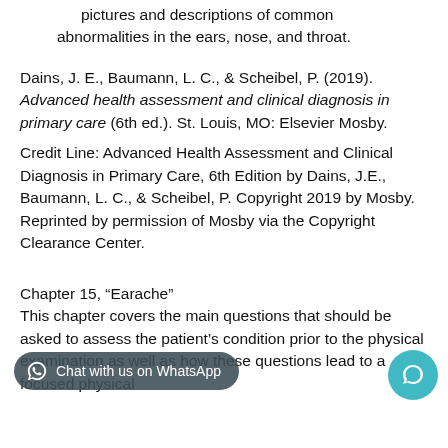pictures and descriptions of common abnormalities in the ears, nose, and throat.
Dains, J. E., Baumann, L. C., & Scheibel, P. (2019). Advanced health assessment and clinical diagnosis in primary care (6th ed.). St. Louis, MO: Elsevier Mosby.
Credit Line: Advanced Health Assessment and Clinical Diagnosis in Primary Care, 6th Edition by Dains, J.E., Baumann, L. C., & Scheibel, P. Copyright 2019 by Mosby. Reprinted by permission of Mosby via the Copyright Clearance Center.
Chapter 15, “Earache”
This chapter covers the main questions that should be asked to assess the patient’s condition prior to the physical examination as well as how these questions lead to a focused physical